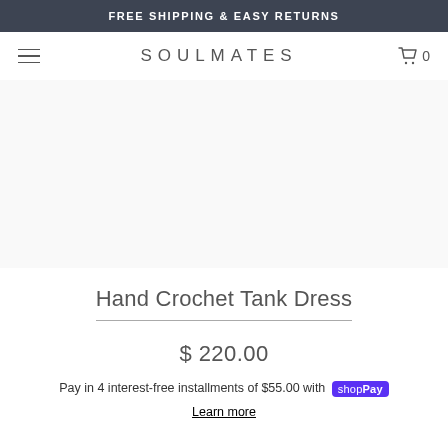FREE SHIPPING & EASY RETURNS
SOULMATES
[Figure (other): Product image area (blank/white) for Hand Crochet Tank Dress]
Hand Crochet Tank Dress
$ 220.00
Pay in 4 interest-free installments of $55.00 with shop Pay
Learn more